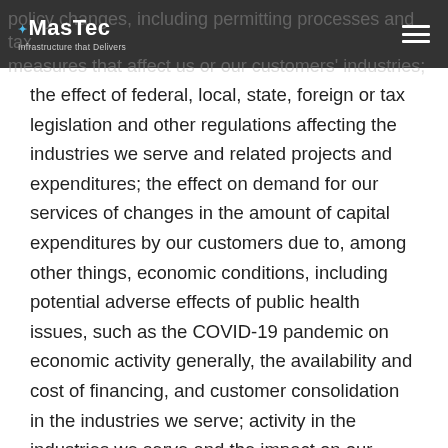MasTec Infrastructure that Delivers
the effect of federal, local, state, foreign or tax legislation and other regulations affecting the industries we serve and related projects and expenditures; the effect on demand for our services of changes in the amount of capital expenditures by our customers due to, among other things, economic conditions, including potential adverse effects of public health issues, such as the COVID-19 pandemic on economic activity generally, the availability and cost of financing, and customer consolidation in the industries we serve; activity in the industries we serve and the impact on our customers' expenditure levels caused by fluctuations in commodity prices, including for oil, natural gas, electricity and other energy sources; our ability to manage projects effectively and in